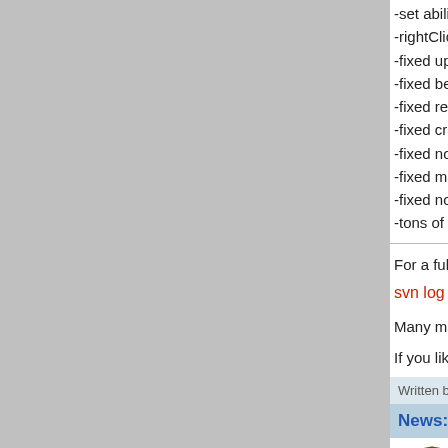-set ability to detect mines to mine layer and sea
-rightClick in miniMap for setting paths now works
-fixed upgrade costs for "Rocketlauncher, attack,
-fixed behavior of Prev, Next and Done Button
-fixed resource allocation when adding or removin
-fixed crash, when disabling vehicles with an infilt
-fixed non original infiltrator behavior
-fixed many bugs in the reports menu
-fixed non original behavior of stealth vehicles
-tons of bugs and crashes fixed
For a full list of changes use the following SVN comm
svn log -r 2785:2367 svn://maxr.org/MAX/trunk
Many many thanks to all the coders, artists, svn pla
If you like this project please donate!
Written by beko, Jun 21, 2012 4:59 pm
News: MAXR 200 Turns Anniversary
MAXR 200 Turns Anniversary
Sal decided to lit a candle for the two hundredth cras a single crash. The match is still going on but the pla magic 400 turns barrier that usually was about the m